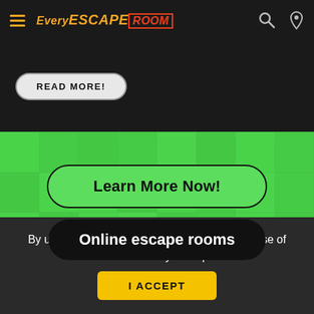Every Escape Room
READ MORE!
Learn More Now!
Online escape rooms
By using Everyescaperoom, you agree to our use of cookies to enhance your experience.
I ACCEPT